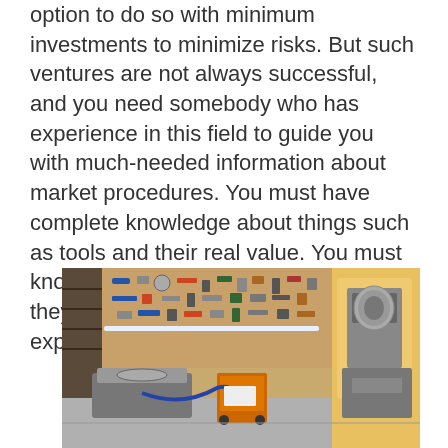option to do so with minimum investments to minimize risks. But such ventures are not always successful, and you need somebody who has experience in this field to guide you with much-needed information about market procedures. You must have complete knowledge about things such as tools and their real value. You must know where to get such tools and if they fall within your estimated expenditure.
[Figure (photo): A well-organized workshop with tools hanging on a pegboard wall, workbenches, table saw, and various woodworking machinery in a garage/shop setting.]